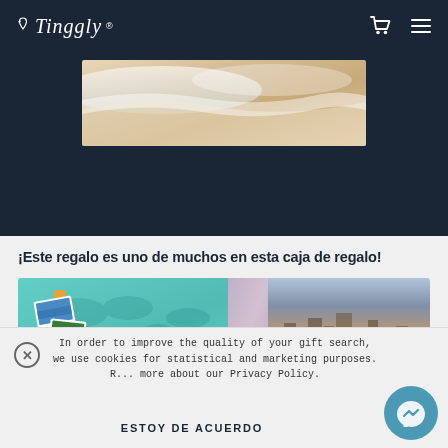Tinggly
[Figure (photo): Beach scene with ocean waves and sandy shore, partially visible]
¡Este regalo es uno de muchos en esta caja de regalo!
[Figure (photo): Tinggly gift box showing teal/mint colored card with world map and travel photo collage, alongside a city harbor photo]
In order to improve the quality of your gift search, we use cookies for statistical and marketing purposes. R... more about our Privacy Policy.
ESTOY DE ACUERDO